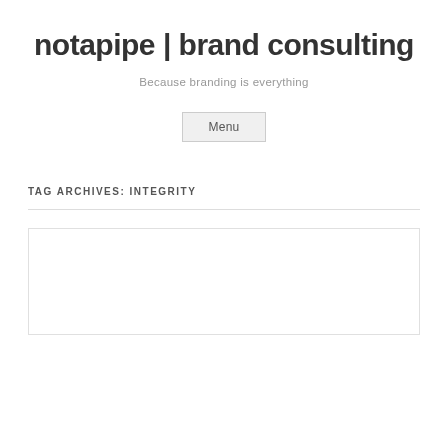notapipe | brand consulting
Because branding is everything
Menu
TAG ARCHIVES: INTEGRITY
[Figure (other): White box with border, partially visible at bottom of page]